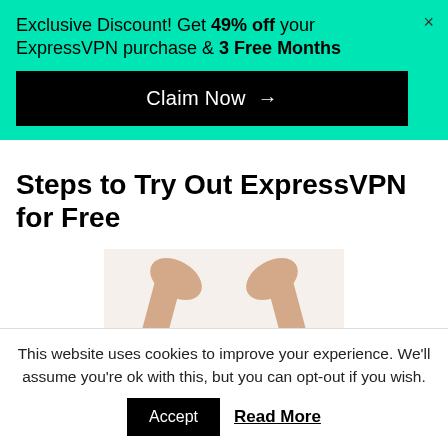Exclusive Discount! Get 49% off your ExpressVPN purchase & 3 Free Months
Claim Now →
Steps to Try Out ExpressVPN for Free
[Figure (photo): Hands picking up a gold coin]
This website uses cookies to improve your experience. We'll assume you're ok with this, but you can opt-out if you wish. Accept Read More